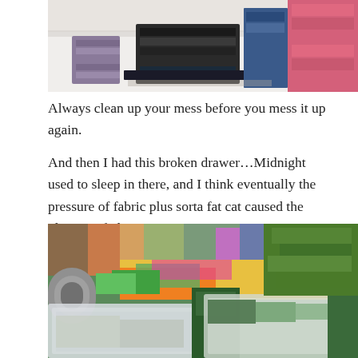[Figure (photo): Folded fabrics in dark grey, black, and purple tones stacked on a white surface, viewed from above.]
Always clean up your mess before you mess it up again.
And then I had this broken drawer…Midnight used to sleep in there, and I think eventually the pressure of fabric plus sorta fat cat caused the plastic to fail…
[Figure (photo): Clear plastic storage drawers/bins filled with green and colorful fabrics, with more fabric visible in the background on shelves.]